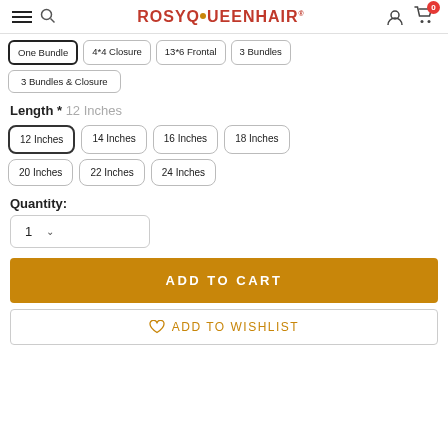ROSYQUEENHAIR
One Bundle
4*4 Closure
13*6 Frontal
3 Bundles
3 Bundles & Closure
Length * 12 Inches
12 Inches
14 Inches
16 Inches
18 Inches
20 Inches
22 Inches
24 Inches
Quantity:
1
ADD TO CART
ADD TO WISHLIST